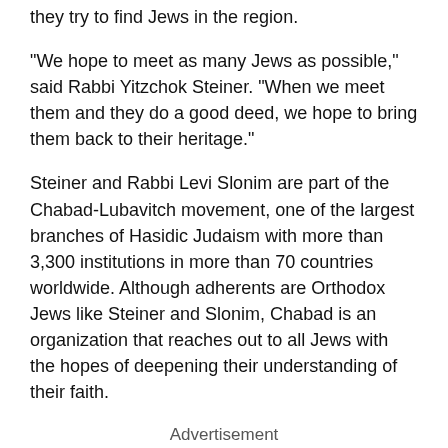they try to find Jews in the region.
"We hope to meet as many Jews as possible," said Rabbi Yitzchok Steiner. "When we meet them and they do a good deed, we hope to bring them back to their heritage."
Steiner and Rabbi Levi Slonim are part of the Chabad-Lubavitch movement, one of the largest branches of Hasidic Judaism with more than 3,300 institutions in more than 70 countries worldwide. Although adherents are Orthodox Jews like Steiner and Slonim, Chabad is an organization that reaches out to all Jews with the hopes of deepening their understanding of their faith.
Advertisement
The two roving rabbis are spending the week in North Idaho as part of a worldwide program sometimes referred to as the "Lubavitch Summer Peace Corps." Hosted by the Boise-based Chabad of Idaho, Steiner and Slonim are driving all